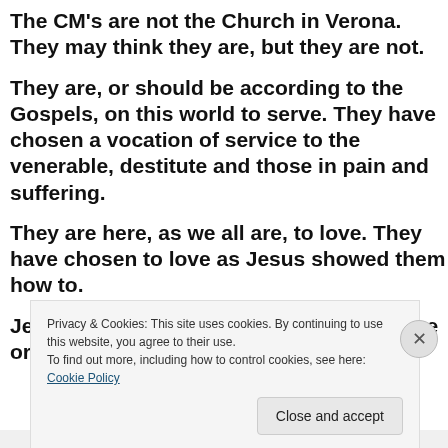The CM's are not the Church in Verona. They may think they are, but they are not.
They are, or should be according to the Gospels, on this world to serve. They have chosen a vocation of service to the venerable, destitute and those in pain and suffering.
They are here, as we all are, to love. They have chosen to love as Jesus showed them how to.
Jesus did not abuse children, nor condone or cover
Privacy & Cookies: This site uses cookies. By continuing to use this website, you agree to their use.
To find out more, including how to control cookies, see here: Cookie Policy
Close and accept